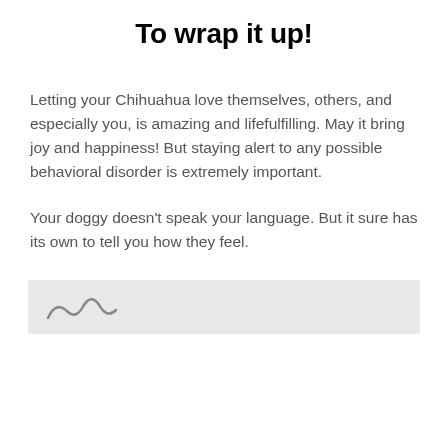To wrap it up!
Letting your Chihuahua love themselves, others, and especially you, is amazing and lifefulfilling. May it bring joy and happiness! But staying alert to any possible behavioral disorder is extremely important.
Your doggy doesn’t speak your language. But it sure has its own to tell you how they feel.
[Figure (illustration): Partial view of an illustration or image inside a light gray box, showing small curved line shapes at the bottom, partially cropped.]